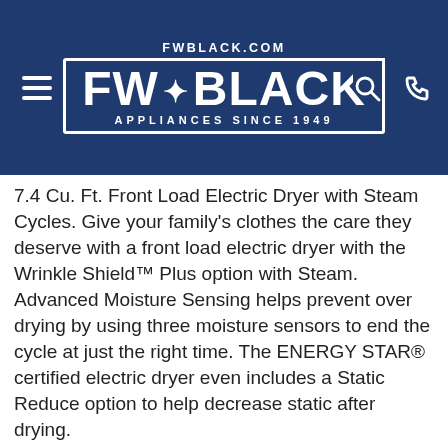FW BLACK — APPLIANCES SINCE 1949 — FWBLACK.COM
7.4 Cu. Ft. Front Load Electric Dryer with Steam Cycles. Give your family's clothes the care they deserve with a front load electric dryer with the Wrinkle Shield™ Plus option with Steam. Advanced Moisture Sensing helps prevent over drying by using three moisture sensors to end the cycle at just the right time. The ENERGY STAR® certified electric dryer even includes a Static Reduce option to help decrease static after drying.
Visit Store For Details
$1,149.99
$1,349.99  Save $200.00